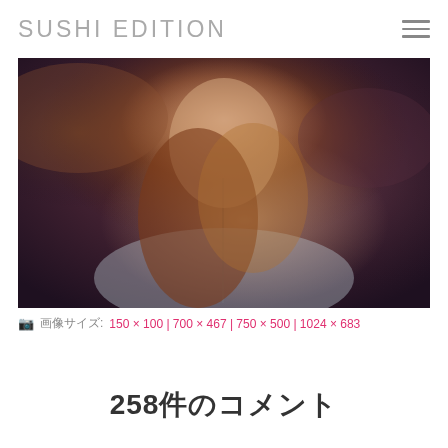SUSHI EDITION
[Figure (photo): Portrait photo of a young woman with long wavy auburn hair, wearing an off-shoulder light grey top with a long chain necklace, against a dark wooden background with warm and purple tones.]
📷 画像サイズ: 150 × 100 | 700 × 467 | 750 × 500 | 1024 × 683
258件のコメント